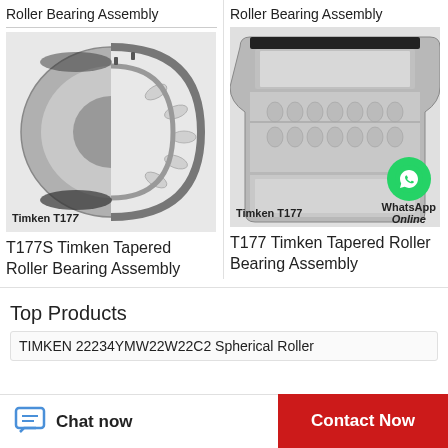Roller Bearing Assembly
Roller Bearing Assembly
[Figure (photo): T177S Timken Tapered Roller Bearing Assembly - cutaway view showing internal tapered roller components]
Timken T177
[Figure (photo): T177 Timken Tapered Roller Bearing Assembly - cutaway view showing internal double-row tapered roller components with WhatsApp Online badge overlay]
Timken T177
T177S Timken Tapered Roller Bearing Assembly
T177 Timken Tapered Roller Bearing Assembly
Top Products
TIMKEN 22234YMW22W22C2 Spherical Roller
Chat now
Contact Now